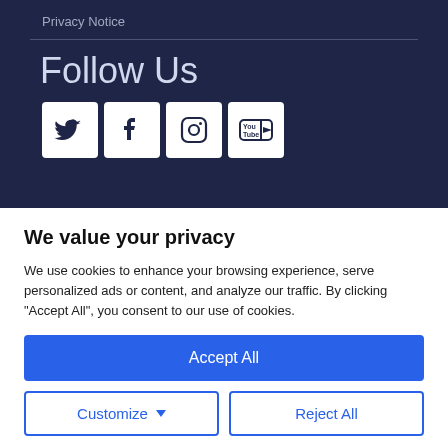Privacy Notice
Follow Us
[Figure (illustration): Social media icons: Twitter, Facebook, Instagram, YouTube]
We value your privacy
We use cookies to enhance your browsing experience, serve personalized ads or content, and analyze our traffic. By clicking "Accept All", you consent to our use of cookies.
Accept All
Customize
Reject All